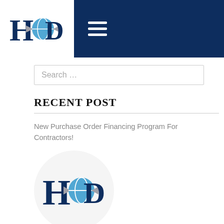[Figure (logo): HC logo with blue arrow and circular globe icon, white background box on dark navy header bar, with hamburger menu icon]
Search …
RECENT POST
New Purchase Order Financing Program For Contractors!
[Figure (logo): HC logo with dark blue H, blue circular C, and silver arrow, inside a light gray circle]
Purchase Order Financing Or Equity. Which Is Better For The Growth Of My Business?
[Figure (logo): HC logo with dark blue H, blue circular C, and silver arrow, inside a light gray circle (partially visible)]